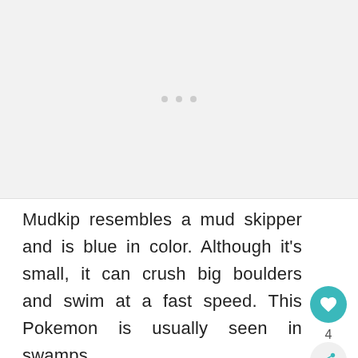[Figure (other): Light gray placeholder image area with three small dots centered]
Mudkip resembles a mud skipper and is blue in color. Although it’s small, it can crush big boulders and swim at a fast speed. This Pokemon is usually seen in swamps.